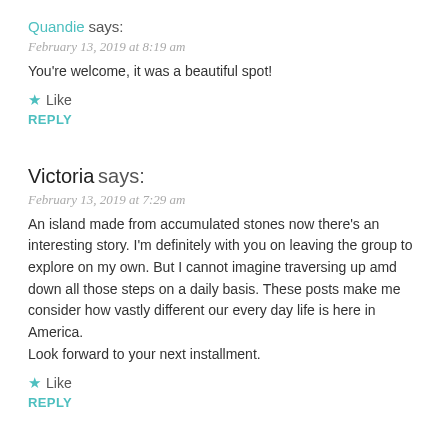Quandie says:
February 13, 2019 at 8:19 am
You're welcome, it was a beautiful spot!
★ Like
REPLY
Victoria says:
February 13, 2019 at 7:29 am
An island made from accumulated stones now there's an interesting story. I'm definitely with you on leaving the group to explore on my own. But I cannot imagine traversing up amd down all those steps on a daily basis. These posts make me consider how vastly different our every day life is here in America.
Look forward to your next installment.
★ Like
REPLY